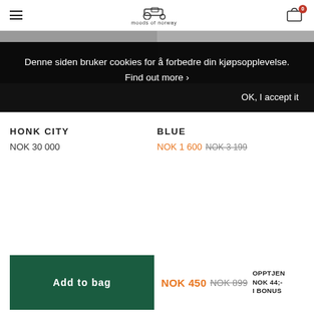Moods of Norway — nav/cart header
Denne siden bruker cookies for å forbedre din kjøpsopplevelse. Find out more › OK, I accept it
HONK CITY
NOK 30 000
BLUE
NOK 1 600  NOK 3 199
Add to bag
NOK 450  NOK 899  OPPTJEN NOK 44;- I BONUS